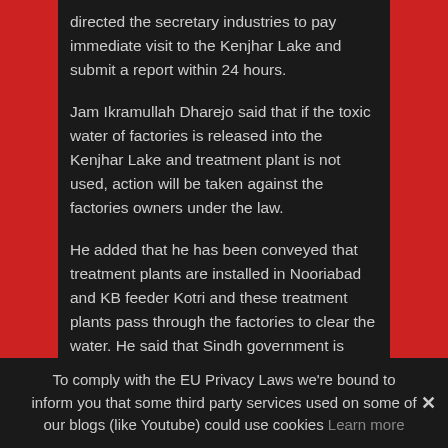directed the secretary industries to pay immediate visit to the Kenjhar Lake and submit a report within 24 hours.
Jam Ikramullah Dharejo said that if the toxic water of factories is released into the Kenjhar Lake and treatment plant is not used, action will be taken against the factories owners under the law.
He added that he has been conveyed that treatment plants are installed in Nooriabad and KB feeder Kotri and these treatment plants pass through the factories to clear the water. He said that Sindh government is working for the betterment of Kenjhar Lake and will take all possible measures to preserve the beauty of Kenjhar Lake.
On the directives of minister, secretary industries has visited the site.
To comply with the EU Privacy Laws we're bound to inform you that some third party services used on some of our blogs (like Youtube) could use cookies Learn more